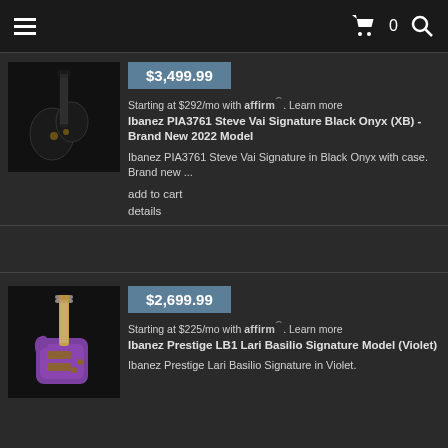Navigation bar with hamburger menu, cart (0), and search icon
[Figure (photo): Ibanez PIA3761 Steve Vai Signature Black Onyx electric guitar on dark background]
$3,499.99
Starting at $292/mo with affirm. Learn more
Ibanez PIA3761 Steve Vai Signature Black Onyx (XB) - Brand New 2022 Model
Ibanez PIA3761 Steve Vai Signature in Black Onyx with case. Brand new ...
add to cart
details
[Figure (photo): Ibanez Prestige LB1 Lari Basilio Signature Model in Violet electric guitar on dark background]
$2,699.99
Starting at $225/mo with affirm. Learn more
Ibanez Prestige LB1 Lari Basilio Signature Model (Violet)
Ibanez Prestige Lari Basilio Signature in Violet.